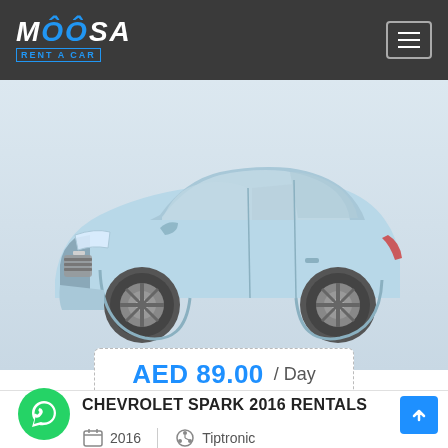MOOSA RENT A CAR
[Figure (photo): Light blue Chevrolet Spark 2016 hatchback car photographed at a three-quarter front angle on a white/light background]
AED 89.00 / Day
CHEVROLET SPARK 2016 RENTALS
2016   Tiptronic